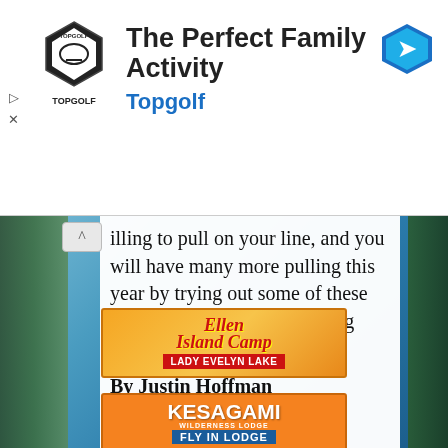[Figure (advertisement): Topgolf ad banner with logo, title 'The Perfect Family Activity', subtitle 'Topgolf', and blue navigation arrow icon]
illing to pull on your line, and you will have many more pulling this year by trying out some of these new, and proven, fish catching techniques.
By Justin Hoffman
[Figure (advertisement): Ellen Island Camp advertisement banner - Lady Evelyn Lake]
[Figure (advertisement): Kesagami Wilderness Lodge Fly In Lodge advertisement banner]